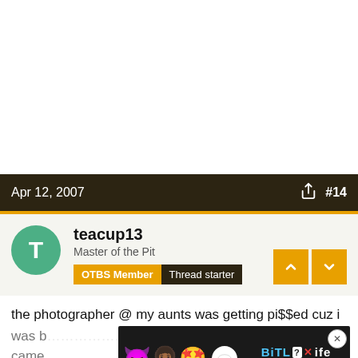Apr 12, 2007  #14
[Figure (screenshot): User avatar: green circle with letter T]
teacup13
Master of the Pit
OTBS Member  Thread starter
the photographer @ my aunts was getting pi$$ed cuz i was b... he a came... go
[Figure (screenshot): BitLife Real Choices advertisement banner with emoji characters (devil, woman, winking face) and BitLife logo]